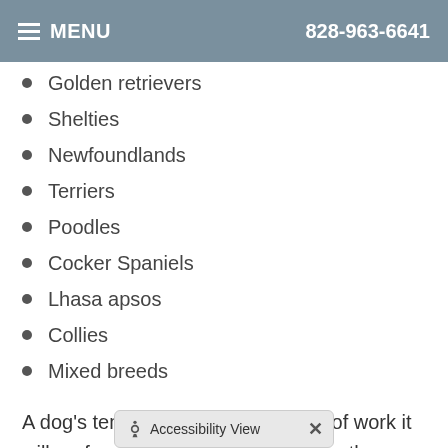MENU  828-963-6641
Golden retrievers
Shelties
Newfoundlands
Terriers
Poodles
Cocker Spaniels
Lhasa apsos
Collies
Mixed breeds
A dog's temperament and the type of work it will perform are more important than the breed. It's also crucial to consider the breed's average lifespan. Dogs that have longer lifespans are obviously a better choice. In addition to the emotional toll involved with a dog's death, training dogs with short lifespans means that a disabled person must adjust to working with a new dog throughout